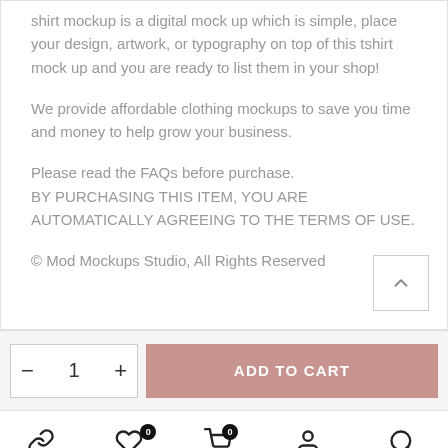shirt mockup is a digital mock up which is simple, place your design, artwork, or typography on top of this tshirt mock up and you are ready to list them in your shop!
We provide affordable clothing mockups to save you time and money to help grow your business.
Please read the FAQs before purchase.
BY PURCHASING THIS ITEM, YOU ARE AUTOMATICALLY AGREEING TO THE TERMS OF USE.
© Mod Mockups Studio, All Rights Reserved
- 1 +
ADD TO CART
Shop
Wishlist
Cart
Account
Search